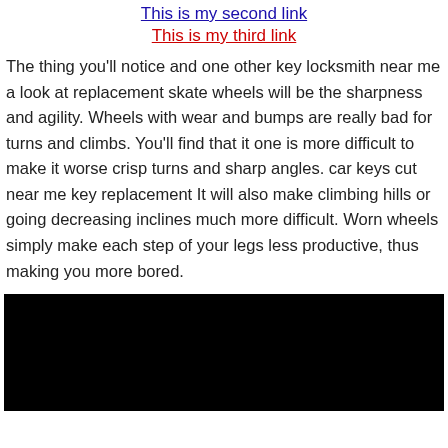This is my second link
This is my third link
The thing you’ll notice and one other key locksmith near me a look at replacement skate wheels will be the sharpness and agility. Wheels with wear and bumps are really bad for turns and climbs. You’ll find that it one is more difficult to make it worse crisp turns and sharp angles. car keys cut near me key replacement It will also make climbing hills or going decreasing inclines much more difficult. Worn wheels simply make each step of your legs less productive, thus making you more bored.
[Figure (other): Black rectangle image placeholder]